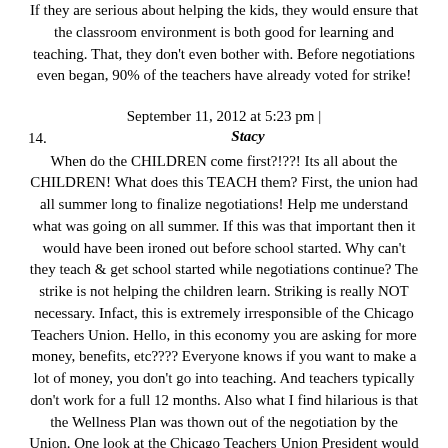If they are serious about helping the kids, they would ensure that the classroom environment is both good for learning and teaching. That, they don't even bother with. Before negotiations even began, 90% of the teachers have already voted for strike!
September 11, 2012 at 5:23 pm |
14. Stacy
When do the CHILDREN come first?!??! Its all about the CHILDREN! What does this TEACH them? First, the union had all summer long to finalize negotiations! Help me understand what was going on all summer. If this was that important then it would have been ironed out before school started. Why can't they teach & get school started while negotiations continue? The strike is not helping the children learn. Striking is really NOT necessary. Infact, this is extremely irresponsible of the Chicago Teachers Union. Hello, in this economy you are asking for more money, benefits, etc???? Everyone knows if you want to make a lot of money, you don't go into teaching. And teachers typically don't work for a full 12 months. Also what I find hilarious is that the Wellness Plan was thown out of the negotiation by the Union. One look at the Chicago Teachers Union President would explain that one. Their selfishness angers